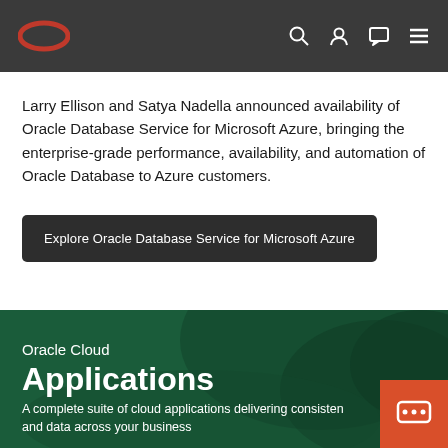Oracle navigation bar with logo, search, account, chat, and menu icons
Larry Ellison and Satya Nadella announced availability of Oracle Database Service for Microsoft Azure, bringing the enterprise-grade performance, availability, and automation of Oracle Database to Azure customers.
Explore Oracle Database Service for Microsoft Azure
Oracle Cloud Applications
A complete suite of cloud applications delivering consistent and data across your business